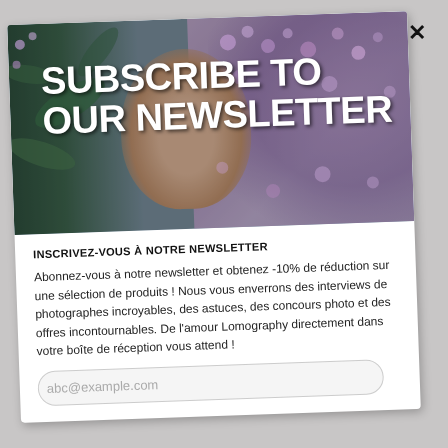[Figure (photo): Newsletter subscription popup card with a photo of a child's face peeking through purple lilac flowers, overlaid with bold white text 'SUBSCRIBE TO OUR NEWSLETTER']
INSCRIVEZ-VOUS À NOTRE NEWSLETTER
Abonnez-vous à notre newsletter et obtenez -10% de réduction sur une sélection de produits ! Nous vous enverrons des interviews de photographes incroyables, des astuces, des concours photo et des offres incontournables. De l'amour Lomography directement dans votre boîte de réception vous attend !
abc@example.com